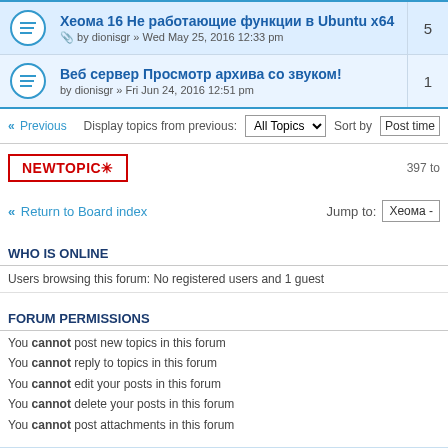Хеома 16 Не работающие функции в Ubuntu x64 — by dionisgr » Wed May 25, 2016 12:33 pm — 5 replies
Веб сервер Просмотр архива со звуком! — by dionisgr » Fri Jun 24, 2016 12:51 pm — 1 reply
« Previous   Display topics from previous: All Topics ▾   Sort by Post time
NEWTOPIC *   397 to
« Return to Board index   Jump to: Xeoma -
WHO IS ONLINE
Users browsing this forum: No registered users and 1 guest
FORUM PERMISSIONS
You cannot post new topics in this forum
You cannot reply to topics in this forum
You cannot edit your posts in this forum
You cannot delete your posts in this forum
You cannot post attachments in this forum
Board index   The team •
© 2004-2022 Felenasoft company